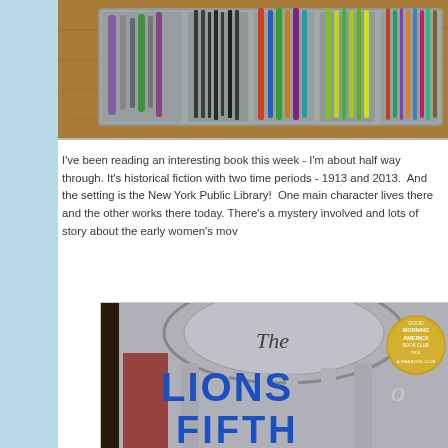[Figure (photo): Photo of an organized kitchen utensil drawer with a gray plastic divider tray containing various colored utensils and knives.]
I've been reading an interesting book this week - I'm about half way through. It's historical fiction with two time periods - 1913 and 2013.  And the setting is the New York Public Library!  One main character lives there and the other works there today. There's a mystery involved and lots of story about the early women's mov
[Figure (photo): Book cover of 'The Lions of Fifth' (The Lions of Fifth Avenue) with blue title text on a gray architectural background showing library columns, with a Good Morning America Book Club badge.]